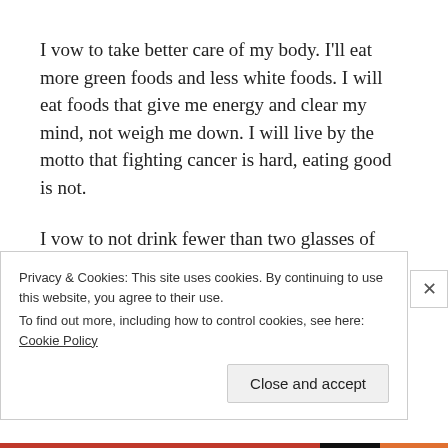I vow to take better care of my body. I'll eat more green foods and less white foods. I will eat foods that give me energy and clear my mind, not weigh me down. I will live by the motto that fighting cancer is hard, eating good is not.
I vow to not drink fewer than two glasses of deep burgundy wine each week that tastes of berries
Privacy & Cookies: This site uses cookies. By continuing to use this website, you agree to their use.
To find out more, including how to control cookies, see here: Cookie Policy